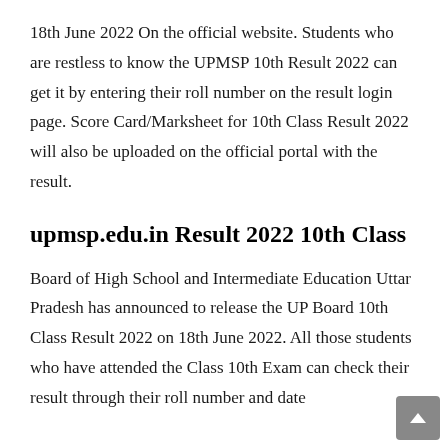18th June 2022 On the official website. Students who are restless to know the UPMSP 10th Result 2022 can get it by entering their roll number on the result login page. Score Card/Marksheet for 10th Class Result 2022 will also be uploaded on the official portal with the result.
upmsp.edu.in Result 2022 10th Class
Board of High School and Intermediate Education Uttar Pradesh has announced to release the UP Board 10th Class Result 2022 on 18th June 2022. All those students who have attended the Class 10th Exam can check their result through their roll number and date